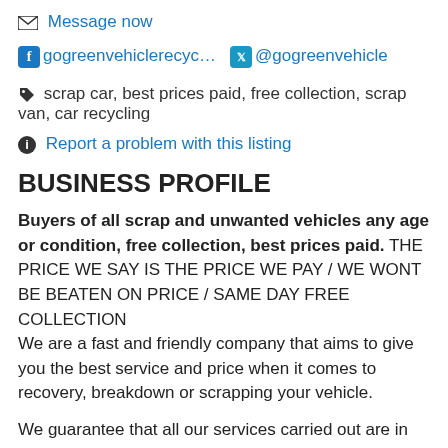✉ Message now
f gogreenvehiclerecyc… 🐦 @gogreenvehicle
🏷 scrap car, best prices paid, free collection, scrap van, car recycling
ℹ Report a problem with this listing
BUSINESS PROFILE
Buyers of all scrap and unwanted vehicles any age or condition, free collection, best prices paid. THE PRICE WE SAY IS THE PRICE WE PAY / WE WONT BE BEATEN ON PRICE / SAME DAY FREE COLLECTION
We are a fast and friendly company that aims to give you the best service and price when it comes to recovery, breakdown or scrapping your vehicle.
We guarantee that all our services carried out are in accordance with the environmental agency guidelines.
Fully licensed with the environmental agency, we display